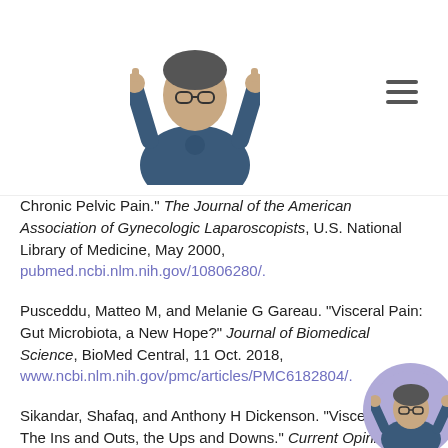[Figure (photo): Man in blue scrubs giving thumbs up, website logo/header image]
[Figure (illustration): Hamburger menu icon (three horizontal lines)]
Chronic Pelvic Pain." The Journal of the American Association of Gynecologic Laparoscopists, U.S. National Library of Medicine, May 2000, pubmed.ncbi.nlm.nih.gov/10806280/.
Pusceddu, Matteo M, and Melanie G Gareau. "Visceral Pain: Gut Microbiota, a New Hope?" Journal of Biomedical Science, BioMed Central, 11 Oct. 2018, www.ncbi.nlm.nih.gov/pmc/articles/PMC6182804/.
Sikandar, Shafaq, and Anthony H Dickenson. "Visceral Pain: The Ins and Outs, the Ups and Downs." Current Opinion in Supportive and Palliative Care, U.S. National Library of Medicine, Mar. 2012,
[Figure (photo): Circular avatar of man in blue scrubs giving thumbs up, bottom right corner]